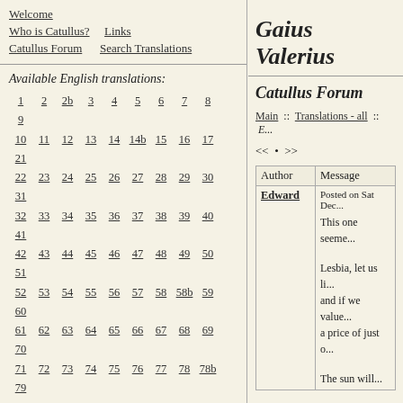Welcome | Who is Catullus? | Links | Catullus Forum | Search Translations
Gaius Valerius
Available English translations:
1 2 2b 3 4 5 6 7 8 9 10 11 12 13 14 14b 15 16 17 21 22 23 24 25 26 27 28 29 30 31 32 33 34 35 36 37 38 39 40 41 42 43 44 45 46 47 48 49 50 51 52 53 54 55 56 57 58 58b 59 60 61 62 63 64 65 66 67 68 69 70 71 72 73 74 75 76 77 78 78b 79 80 81 82 83 84 85 86 87 88 89 90 91 92 93 94 95 95b 96 97 98 99 100 101 102 103 104 105 106 107 108 109 110 111 112 113 114 115 116
Available languages:
Latin
Catullus Forum
Main :: Translations - all :: E...
<< • >>
| Author | Message |
| --- | --- |
| Edward | Posted on Sat Dec...

This one seeme...

Lesbia, let us li... and if we value... a price of just o...

The sun will... |